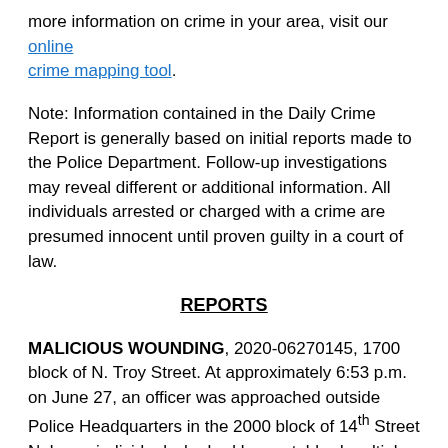more information on crime in your area, visit our online crime mapping tool.
Note: Information contained in the Daily Crime Report is generally based on initial reports made to the Police Department. Follow-up investigations may reveal different or additional information. All individuals arrested or charged with a crime are presumed innocent until proven guilty in a court of law.
REPORTS
MALICIOUS WOUNDING, 2020-06270145, 1700 block of N. Troy Street. At approximately 6:53 p.m. on June 27, an officer was approached outside Police Headquarters in the 2000 block of 14th Street N. by an individual who had been stabbed multiple times. Officers immediately began to render aid to the victim until medics arrived and transported him to an area hospital for treatment of non-